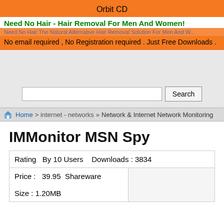Orbit CD
Need No Hair - Hair Removal For Men And Women!
No email required , No Registration required . Just Free Downloads .
Home > internet - networks » Network & Internet Network Monitoring
IMMonitor MSN Spy
| Rating  By 10 Users   Downloads : 3834 |  |
| Price :  39.95  Shareware

Size : 1.20MB |  |